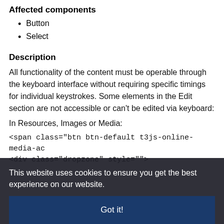Affected components
Button
Select
Description
All functionality of the content must be operable through the keyboard interface without requiring specific timings for individual keystrokes. Some elements in the Edit section are not accessible or can't be edited via keyboard:
In Resources, Images or Media:
<span class="btn btn-default t3js-online-media-ac
<div class="dropzone" style="">
This website uses cookies to ensure you get the best experience on our website.
Got it!